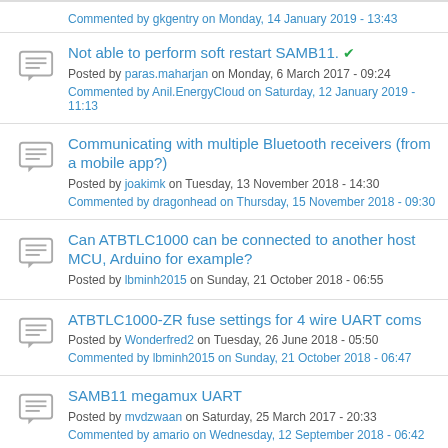Commented by gkgentry on Monday, 14 January 2019 - 13:43
Not able to perform soft restart SAMB11. Posted by paras.maharjan on Monday, 6 March 2017 - 09:24. Commented by Anil.EnergyCloud on Saturday, 12 January 2019 - 11:13
Communicating with multiple Bluetooth receivers (from a mobile app?) Posted by joakimk on Tuesday, 13 November 2018 - 14:30. Commented by dragonhead on Thursday, 15 November 2018 - 09:30
Can ATBTLC1000 can be connected to another host MCU, Arduino for example? Posted by lbminh2015 on Sunday, 21 October 2018 - 06:55
ATBTLC1000-ZR fuse settings for 4 wire UART coms Posted by Wonderfred2 on Tuesday, 26 June 2018 - 05:50. Commented by lbminh2015 on Sunday, 21 October 2018 - 06:47
SAMB11 megamux UART Posted by mvdzwaan on Saturday, 25 March 2017 - 20:33. Commented by amario on Wednesday, 12 September 2018 - 06:42